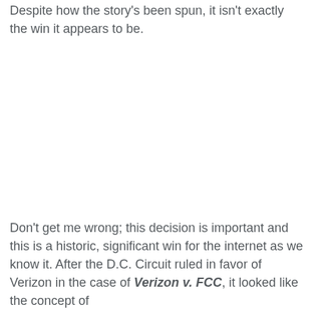Despite how the story's been spun, it isn't exactly the win it appears to be.
Don't get me wrong; this decision is important and this is a historic, significant win for the internet as we know it. After the D.C. Circuit ruled in favor of Verizon in the case of Verizon v. FCC, it looked like the concept of